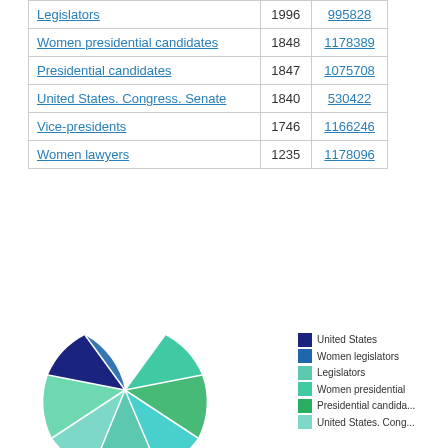| Topic | Year | ID |
| --- | --- | --- |
| Legislators | 1996 | 995828 |
| Women presidential candidates | 1848 | 1178389 |
| Presidential candidates | 1847 | 1075708 |
| United States. Congress. Senate | 1840 | 530422 |
| Vice-presidents | 1746 | 1166246 |
| Women lawyers | 1235 | 1178096 |
[Figure (pie-chart): Distribution by category]